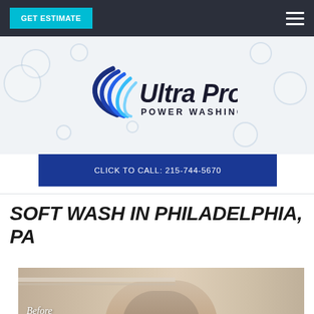GET ESTIMATE | ≡
[Figure (logo): Ultra Pro Power Washing LLC logo with blue swoosh/wave graphic and bold dark blue text]
CLICK TO CALL: 215-744-5670
SOFT WASH IN PHILADELPHIA, PA
[Figure (photo): Before photo of a house exterior showing stucco facade with arched entryway and roof tiles]